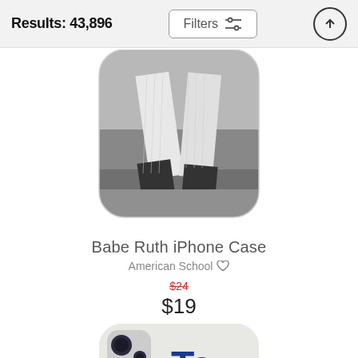Results: 43,896
Filters
[Figure (photo): Black and white photo of Babe Ruth's legs and lower body in baseball uniform with pinstripes, shown mid-swing, displayed on an iPhone case with rounded corners]
Babe Ruth iPhone Case
American School ♡
$24 (crossed out) $19
[Figure (photo): Partially visible iPhone case showing blue letters 'To' on a light background, with camera cutout visible, cropped at bottom of page]